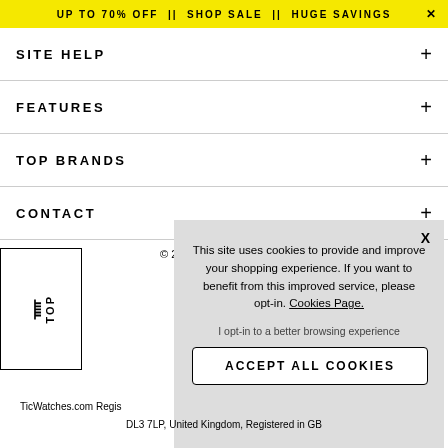UP TO 70% OFF || SHOP SALE || HUGE SAVINGS
SITE HELP
FEATURES
TOP BRANDS
CONTACT
This site uses cookies to provide and improve your shopping experience. If you want to benefit from this improved service, please opt-in. Cookies Page.

I opt-in to a better browsing experience

ACCEPT ALL COOKIES
^ TOP
© 202
TicWatches.com Regis
DL3 7LP, United Kingdom, Registered in GB